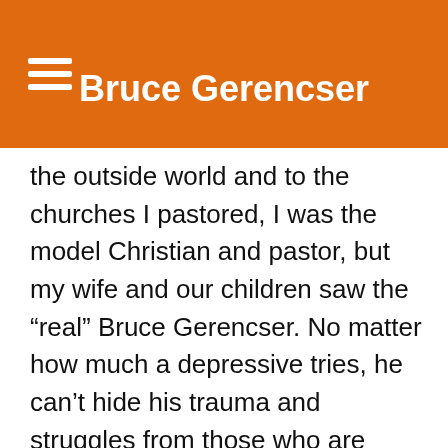Bruce Gerencser
the outside world and to the churches I pastored, I was the model Christian and pastor, but my wife and our children saw the “real” Bruce Gerencser. No matter how much a depressive tries, he can’t hide his trauma and struggles from those who are close to him. Mom’s mental struggles, my parents’ divorce after 15 years of marriage, moving from school to school and house to house, witnessing Mom being raped by her brother-in-law, finding Mom lying a pool of blood after she had slit her wrists, knowing Mom had been sexually molested by my grandfather, my own molestation by a relative as a young boy, having a father who likely